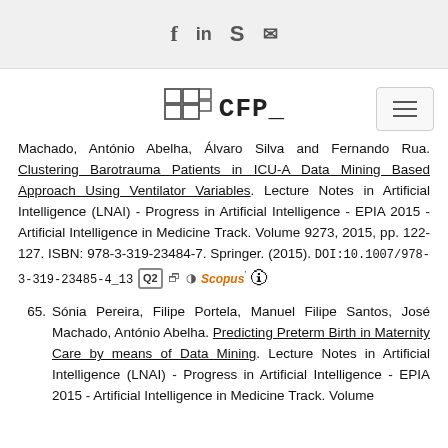Social icons bar (facebook, linkedin, skype, email)
[Figure (logo): CFP_ logo with grid of boxes icon]
Machado, António Abelha, Álvaro Silva and Fernando Rua. Clustering Barotrauma Patients in ICU-A Data Mining Based Approach Using Ventilator Variables. Lecture Notes in Artificial Intelligence (LNAI) - Progress in Artificial Intelligence - EPIA 2015 - Artificial Intelligence in Medicine Track. Volume 9273, 2015, pp. 122-127. ISBN: 978-3-319-23484-7. Springer. (2015). DOI:10.1007/978-3-319-23485-4_13 Q2 [icons] Scopus [icon]
65. Sónia Pereira, Filipe Portela, Manuel Filipe Santos, José Machado, António Abelha. Predicting Preterm Birth in Maternity Care by means of Data Mining. Lecture Notes in Artificial Intelligence (LNAI) - Progress in Artificial Intelligence - EPIA 2015 - Artificial Intelligence in Medicine Track. Volume